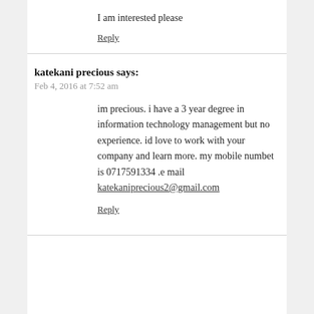I am interested please
Reply
katekani precious says:
Feb 4, 2016 at 7:52 am
im precious. i have a 3 year degree in information technology management but no experience. id love to work with your company and learn more. my mobile numbet is 0717591334 .e mail katekaniprecious2@gmail.com
Reply